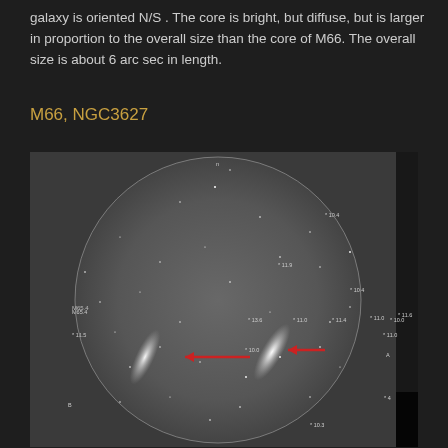galaxy is oriented N/S . The core is bright, but diffuse, but is larger in proportion to the overall size than the core of M66. The overall size is about 6 arc sec in length.
M66, NGC3627
[Figure (photo): Telescope eyepiece view (circular field) showing two galaxies — M65 on the left and M66 on the right — with red arrows pointing to each galaxy. Star field annotations with magnitude labels visible. A small black inset panel appears in the bottom-right corner.]